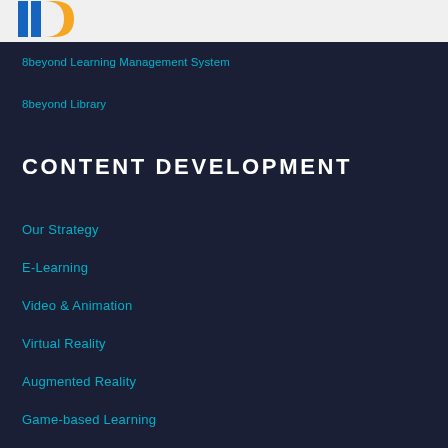[Figure (logo): 8beyond company logo with blue and orange shapes]
8beyond Learning Management System
8beyond Library
CONTENT DEVELOPMENT
Our Strategy
E-Learning
Video & Animation
Virtual Reality
Augmented Reality
Game-based Learning